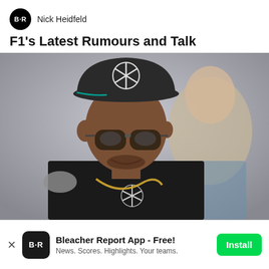Nick Heidfeld
F1's Latest Rumours and Talk
[Figure (photo): Formula 1 driver wearing a Mercedes-branded cap and reflective sunglasses, smiling, with a gold chain necklace and black Mercedes team shirt. A blurred woman is visible in the background.]
Bleacher Report App - Free! News. Scores. Highlights. Your teams.